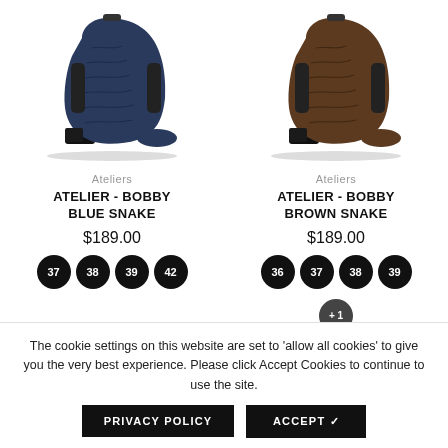[Figure (photo): Blue snake leather chelsea boot (Atelier Bobby Blue Snake)]
Ateliers
ATELIER - BOBBY BLUE SNAKE
$189.00
Sizes: 37, 38, 39, 42
[Figure (photo): Brown snake leather chelsea boot (Atelier Bobby Brown Snake)]
Ateliers
ATELIER - BOBBY BROWN SNAKE
$189.00
Sizes: 36, 37, 38, 39, +1
The cookie settings on this website are set to 'allow all cookies' to give you the very best experience. Please click Accept Cookies to continue to use the site.
PRIVACY POLICY
ACCEPT ✔